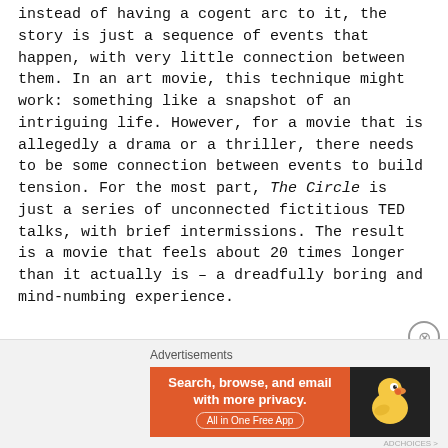instead of having a cogent arc to it, the story is just a sequence of events that happen, with very little connection between them. In an art movie, this technique might work: something like a snapshot of an intriguing life. However, for a movie that is allegedly a drama or a thriller, there needs to be some connection between events to build tension. For the most part, The Circle is just a series of unconnected fictitious TED talks, with brief intermissions. The result is a movie that feels about 20 times longer than it actually is – a dreadfully boring and mind-numbing experience.
[Figure (screenshot): DuckDuckGo advertisement banner: orange left panel with text 'Search, browse, and email with more privacy. All in One Free App' and dark right panel with DuckDuckGo duck logo]